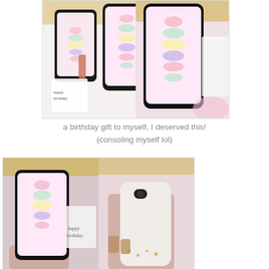[Figure (photo): Two smartphone screens showing macaron tower wallpaper, surrounded by birthday decorations including gold tinsel, rose gold lipstick, and gift tags with 'happy birthday' text]
a birthday gift to myself, I deserved this!
(consoling myself lol)
[Figure (photo): Two photos side by side: left shows a hand holding a phone with macaron tower wallpaper near birthday decorations and a happy birthday card; right shows a hand holding a plain white phone case with gold polka dots]